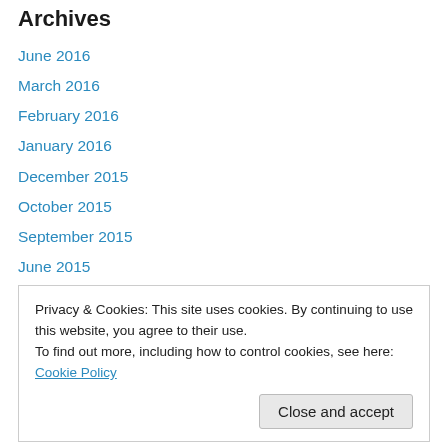Archives
June 2016
March 2016
February 2016
January 2016
December 2015
October 2015
September 2015
June 2015
May 2015
April 2015
March 2015
February 2015
Privacy & Cookies: This site uses cookies. By continuing to use this website, you agree to their use.
To find out more, including how to control cookies, see here: Cookie Policy
March 2014